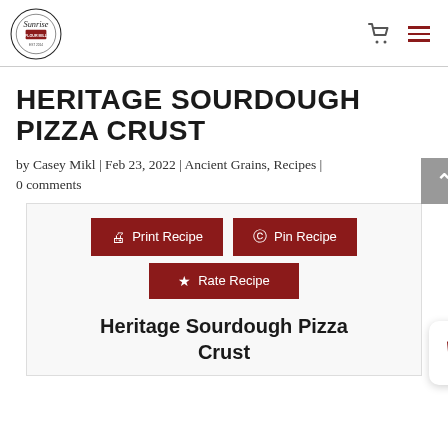Sunrise Flour Mill logo, cart icon, hamburger menu
HERITAGE SOURDOUGH PIZZA CRUST
by Casey Mikl | Feb 23, 2022 | Ancient Grains, Recipes | 0 comments
[Figure (screenshot): Recipe card with Print Recipe, Pin Recipe, and Rate Recipe buttons, and Heritage Sourdough Pizza Crust heading. A back-to-top button and shopping basket float widget are also visible.]